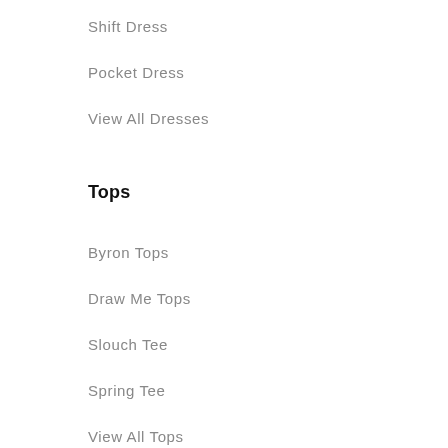Shift Dress
Pocket Dress
View All Dresses
Tops
Byron Tops
Draw Me Tops
Slouch Tee
Spring Tee
View All Tops